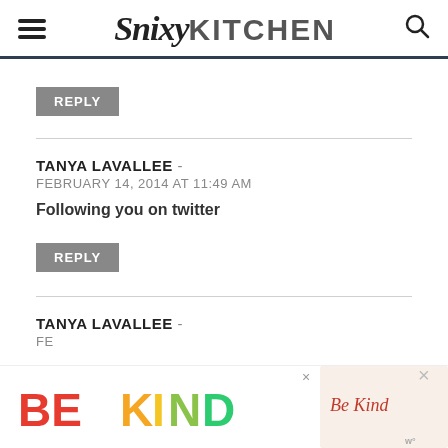Snixy Kitchen
REPLY
TANYA LAVALLEE - FEBRUARY 14, 2014 AT 11:49 AM
Following you on twitter
REPLY
TANYA LAVALLEE - FE...
[Figure (infographic): BE KIND colorful advertisement banner with decorative script text, close buttons, and wordmark logo]